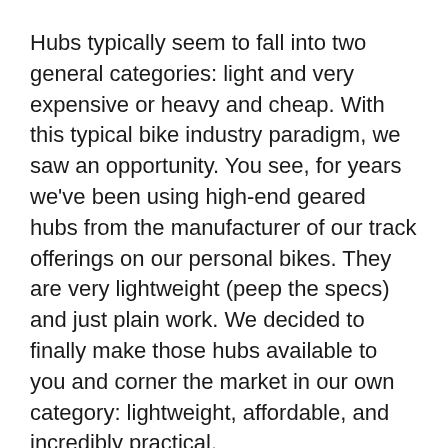Hubs typically seem to fall into two general categories: light and very expensive or heavy and cheap. With this typical bike industry paradigm, we saw an opportunity. You see, for years we've been using high-end geared hubs from the manufacturer of our track offerings on our personal bikes. They are very lightweight (peep the specs) and just plain work. We decided to finally make those hubs available to you and corner the market in our own category: lightweight, affordable, and incredibly practical.
We've ridden them on all kinds of bikes from the Electric Queen to the Mr. Pink and we're in love. They are reliable, dang light and very reasonably priced.
We offer the Go-Devil in a minimal amount of configurations and ship them with all the necessary endcaps and a quick release skewer, future proofing them in case you want to use them on various bikes over the years. Quick Release lever and 12mm thru-axle endcaps